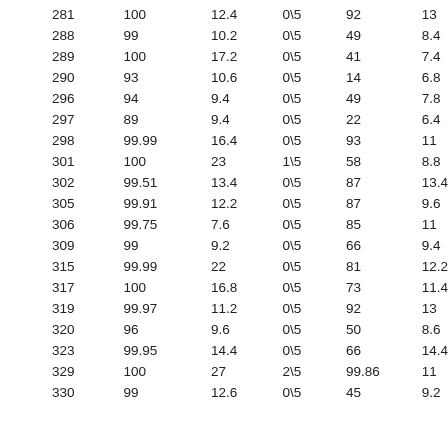| 281 | 100 | 12.4 | 0\5 | 92 | 13 |
| 288 | 99 | 10.2 | 0\5 | 49 | 8.4 |
| 289 | 100 | 17.2 | 0\5 | 41 | 7.4 |
| 290 | 93 | 10.6 | 0\5 | 14 | 6.8 |
| 296 | 94 | 9.4 | 0\5 | 49 | 7.8 |
| 297 | 89 | 9.4 | 0\5 | 22 | 6.4 |
| 298 | 99.99 | 16.4 | 0\5 | 93 | 11 |
| 301 | 100 | 23 | 1\5 | 58 | 8.8 |
| 302 | 99.51 | 13.4 | 0\5 | 87 | 13.4 |
| 305 | 99.91 | 12.2 | 0\5 | 87 | 9.6 |
| 306 | 99.75 | 7.6 | 0\5 | 85 | 11 |
| 309 | 99 | 9.2 | 0\5 | 66 | 9.4 |
| 315 | 99.99 | 22 | 0\5 | 81 | 12.2 |
| 317 | 100 | 16.8 | 0\5 | 73 | 11.4 |
| 319 | 99.97 | 11.2 | 0\5 | 92 | 13 |
| 320 | 96 | 9.6 | 0\5 | 50 | 8.6 |
| 323 | 99.95 | 14.4 | 0\5 | 66 | 14.4 |
| 329 | 100 | 27 | 2\5 | 99.86 | 11 |
| 330 | 99 | 12.6 | 0\5 | 45 | 9.2 |